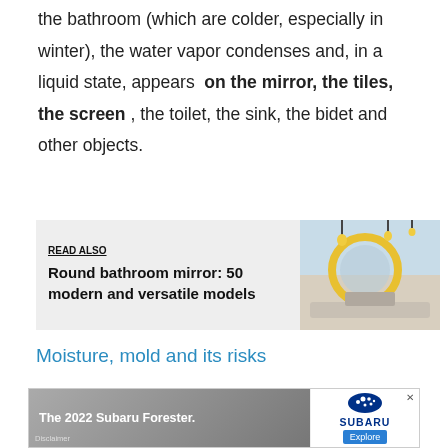the bathroom (which are colder, especially in winter), the water vapor condenses and, in a liquid state, appears on the mirror, the tiles, the screen , the toilet, the sink, the bidet and other objects.
[Figure (other): Read Also box with thumbnail image of a round illuminated bathroom mirror with warm lighting]
Moisture, mold and its risks
The problem of this excess moisture in the bathroom is not limited to the discomfort of touching wet things
[Figure (other): Advertisement banner for The 2022 Subaru Forester with interior car image and Subaru logo with Explore button]